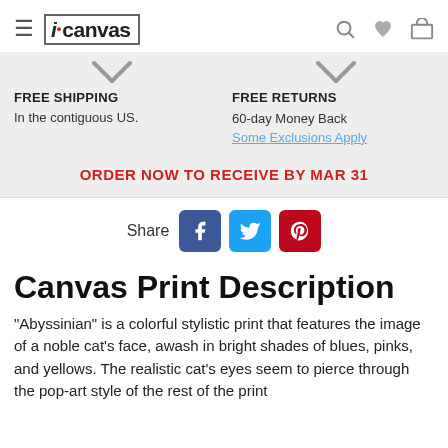iCanvas navigation header with hamburger menu, logo, search, heart, and cart icons
[Figure (infographic): Two chevron/dropdown arrows side by side over a gray background, one above FREE SHIPPING and one above FREE RETURNS]
FREE SHIPPING
In the contiguous US.
FREE RETURNS
60-day Money Back
Some Exclusions Apply
ORDER NOW TO RECEIVE BY MAR 31
Share
[Figure (infographic): Social share icons: Facebook (blue), Twitter (light blue), Pinterest (red)]
Canvas Print Description
"Abyssinian" is a colorful stylistic print that features the image of a noble cat's face, awash in bright shades of blues, pinks, and yellows. The realistic cat's eyes seem to pierce through the pop-art style of the rest of the print